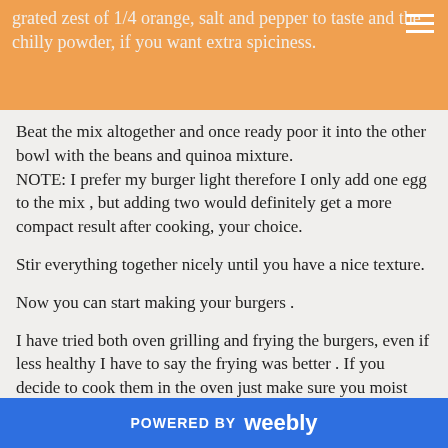grated zest of 1/4 orange, salt and pepper to taste and the chilly powder, if you want extra spiciness.
Beat the mix altogether and once ready poor it into the other bowl with the beans and quinoa mixture.
NOTE: I prefer my burger light therefore I only add one egg to the mix , but adding two would definitely get a more compact result after cooking, your choice.
Stir everything together nicely until you have a nice texture.
Now you can start making your burgers .
I have tried both oven grilling and frying the burgers, even if less healthy I have to say the frying was better . If you decide to cook them in the oven just make sure you moist them well and often to avoid them becoming too dry.
Use a touch of sunflower oil to coat the frying pan and cook the burgers...
POWERED BY weebly